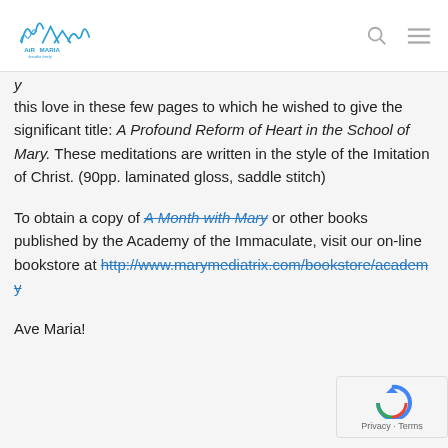AirMaria
this love in these few pages to which he wished to give the significant title: A Profound Reform of Heart in the School of Mary. These meditations are written in the style of the Imitation of Christ. (90pp. laminated gloss, saddle stitch)
To obtain a copy of A Month with Mary or other books published by the Academy of the Immaculate, visit our on-line bookstore at http://www.marymediatrix.com/bookstore/academy
Ave Maria!